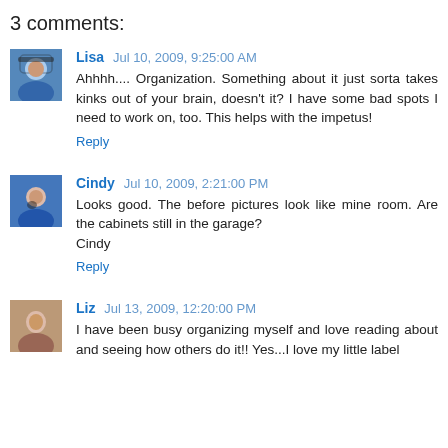3 comments:
Lisa Jul 10, 2009, 9:25:00 AM
Ahhhh.... Organization. Something about it just sorta takes kinks out of your brain, doesn't it? I have some bad spots I need to work on, too. This helps with the impetus!
Reply
Cindy Jul 10, 2009, 2:21:00 PM
Looks good. The before pictures look like mine room. Are the cabinets still in the garage?
Cindy
Reply
Liz Jul 13, 2009, 12:20:00 PM
I have been busy organizing myself and love reading about and seeing how others do it!! Yes...I love my little label